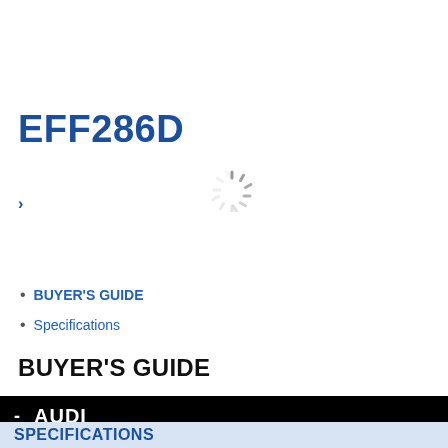EFF286D
>
[Figure (other): Loading spinner icon (rotating dashes in a circle pattern)]
BUYER'S GUIDE
Specifications
BUYER'S GUIDE
- AUDI
SPECIFICATIONS